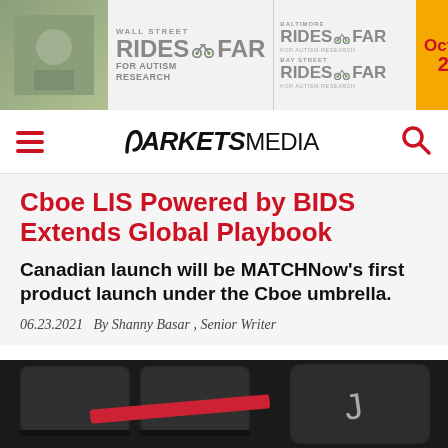[Figure (photo): Banner advertisement for Wall Street Rides FAR for Autism Research, Baltimore Rides FAR, Bay Street Rides FAR, with October date indicator]
MARKETS MEDIA
Cboe LIS Powered by BIDS Extends Global Playbook
Canadian launch will be MATCHNow's first product launch under the Cboe umbrella.
06.23.2021   By Shanny Basar , Senior Writer
[Figure (photo): Close-up photograph of dark keyboard keys with a red stripe, and a key showing the letter J]